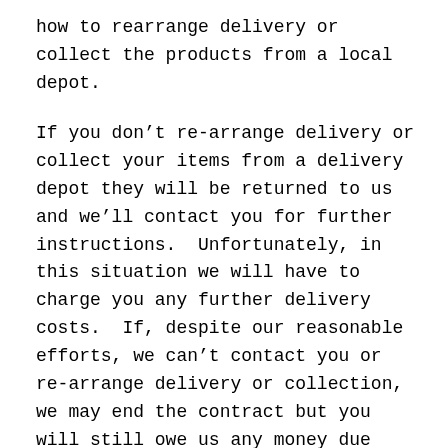how to rearrange delivery or collect the products from a local depot.
If you don’t re-arrange delivery or collect your items from a delivery depot they will be returned to us and we’ll contact you for further instructions.  Unfortunately, in this situation we will have to charge you any further delivery costs.  If, despite our reasonable efforts, we can’t contact you or re-arrange delivery or collection, we may end the contract but you will still owe us any money due under this agreement up to and including the date on which the contract ends. We may charge this to any payment method you have provided during the order process and if the